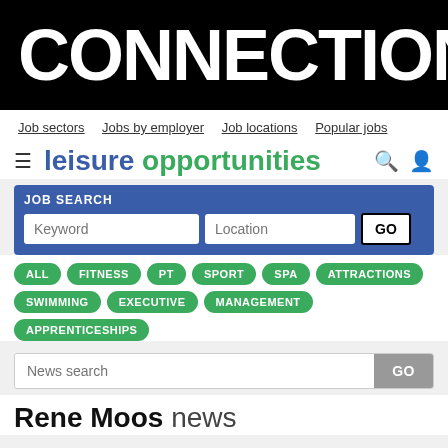CONNECTION LesMills
Job sectors  Jobs by employer  Job locations  Popular jobs
[Figure (logo): Leisure Opportunities logo with hamburger menu, search and user icons]
JOB SEARCH
Keyword  Location  GO
ALL
FITNESS
PT
SPORT
SPA
ATTRACTIONS
SWIMMING
EXECUTIVE
MANAGEMENT
APPRENTICESHIPS
News search  GO
Rene Moos news